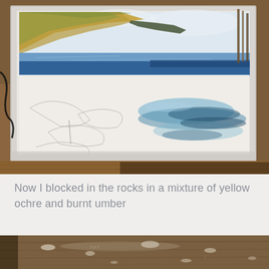[Figure (photo): A watercolor painting in progress on a drawing board, showing a coastal landscape with golden-brown rocky cliffs in the upper left, blue sea in the middle, and a white sandy beach in the lower portion. The painting is in an early stage with pencil sketches visible for the rocks. Paintbrushes and art supplies are visible on the right side. The board rests on a wooden surface.]
Now I blocked in the rocks in a mixture of yellow ochre and burnt umber
[Figure (photo): Partial view of a weathered wooden surface, possibly a paint palette or artist's table, with paint stains and splatters visible.]